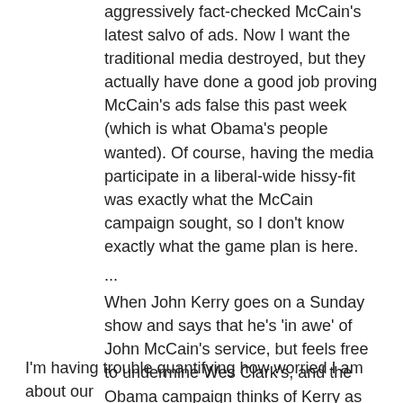aggressively fact-checked McCain's latest salvo of ads. Now I want the traditional media destroyed, but they actually have done a good job proving McCain's ads false this past week (which is what Obama's people wanted). Of course, having the media participate in a liberal-wide hissy-fit was exactly what the McCain campaign sought, so I don't know exactly what the game plan is here.
...
When John Kerry goes on a Sunday show and says that he's 'in awe' of John McCain's service, but feels free to undermine Wes Clark's, and the Obama campaign thinks of Kerry as their top surrogate, it's shameful. When John McCain's economic advisor calls America a nation of whiners, and we don't hear anything more about that in ads or anywhere else, it's shameful. When the Iraqi PM endorses Obama's call for withdrawal, and McCain still leads on the issue of Iraq by double-digits, it's shameful.
I'm having trouble quantifying how worried I am about our